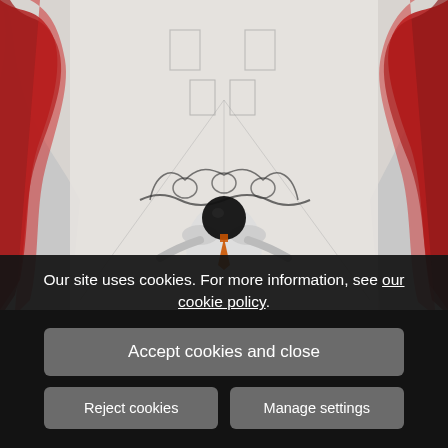[Figure (illustration): An artwork painting showing a surrealist scene with a figure in a white suit with a black sphere for a head and an orange tie, viewed from above in a corridor with red abstract brushstrokes on the sides and sketch-like architectural elements in the background.]
Our site uses cookies. For more information, see our cookie policy.
Accept cookies and close
Reject cookies
Manage settings